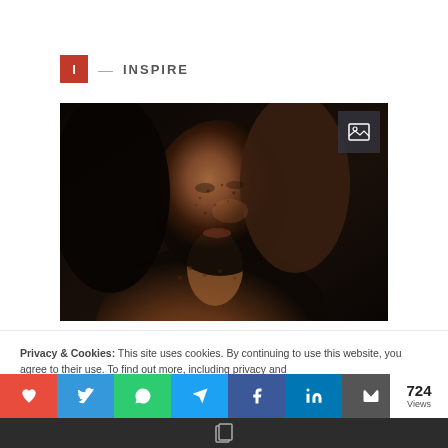I — INSPIRE
[Figure (photo): Portrait photo of a woman with freckles against a dark background, dramatic lighting]
Privacy & Cookies: This site uses cookies. By continuing to use this website, you agree to their use. To find out more, including privacy and
[Figure (infographic): Social sharing bar with heart/like (red), twitter (blue), whatsapp (green), telegram (teal), facebook (blue), linkedin (blue), email (dark grey) buttons, and 724 Views counter]
724 Views